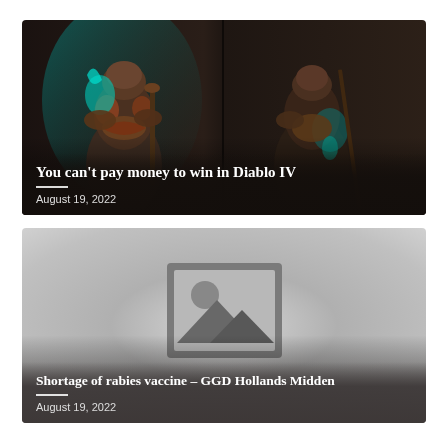[Figure (photo): Dark fantasy warrior characters from Diablo IV, two armored figures side by side with glowing teal accents on dark background]
You can’t pay money to win in Diablo IV
August 19, 2022
[Figure (photo): Placeholder image icon (gray mountain/sun symbol) on a gray gradient background]
Shortage of rabies vaccine – GGD Hollands Midden
August 19, 2022